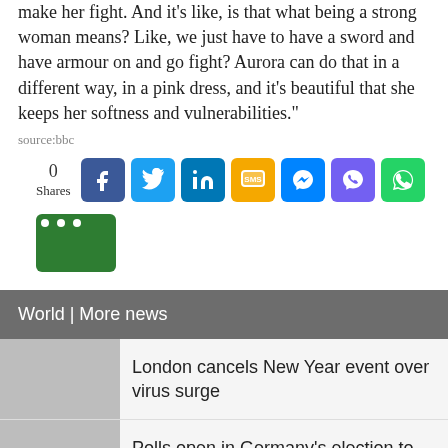make her fight. And it's like, is that what being a strong woman means? Like, we just have to have a sword and have armour on and go fight? Aurora can do that in a different way, in a pink dress, and it's beautiful that she keeps her softness and vulnerabilities."
source:bbc
0 Shares [social share buttons: Facebook, Twitter, LinkedIn, SMS, Messenger, Viber, WhatsApp, More]
World | More news
London cancels New Year event over virus surge
Polls open in Germany's election to end